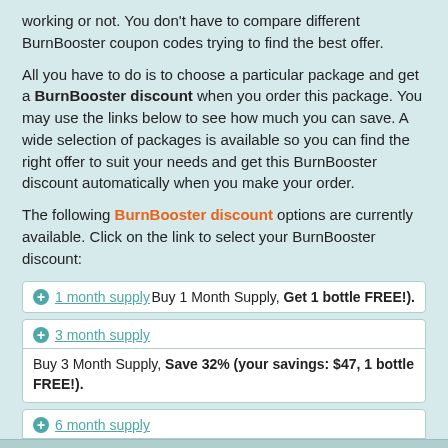working or not. You don't have to compare different BurnBooster coupon codes trying to find the best offer.
All you have to do is to choose a particular package and get a BurnBooster discount when you order this package. You may use the links below to see how much you can save. A wide selection of packages is available so you can find the right offer to suit your needs and get this BurnBooster discount automatically when you make your order.
The following BurnBooster discount options are currently available. Click on the link to select your BurnBooster discount:
1 month supply — Buy 1 Month Supply, Get 1 bottle FREE!).
3 month supply — Buy 3 Month Supply, Save 32% (your savings: $47, 1 bottle FREE!).
6 month supply — Buy 6 Month Supply, Save 42% (your savings: $124, 3 bottles FREE!).